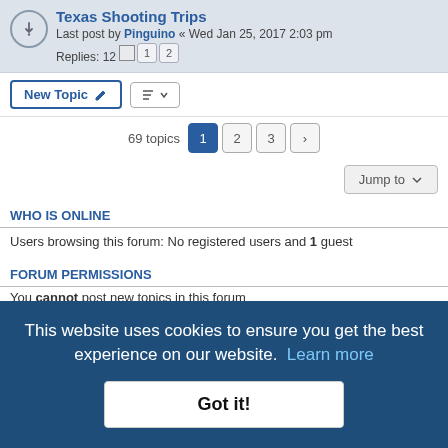Texas Shooting Trips
Last post by Pinguino « Wed Jan 25, 2017 2:03 pm
Replies: 12  1 2
New Topic  |  Sort  69 topics  1 2 3 >
Jump to
WHO IS ONLINE
Users browsing this forum: No registered users and 1 guest
FORUM PERMISSIONS
You cannot post new topics in this forum
You cannot reply to topics in this forum
You cannot edit your posts in this forum
You cannot delete your posts in this forum
This website uses cookies to ensure you get the best experience on our website. Learn more
Got it!